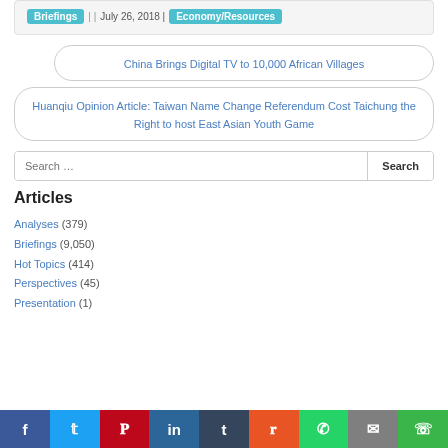Briefings | | July 26, 2018 | Economy/Resources
China Brings Digital TV to 10,000 African Villages
Huanqiu Opinion Article: Taiwan Name Change Referendum Cost Taichung the Right to host East Asian Youth Game
Search …
Articles
Analyses (379)
Briefings (9,050)
Hot Topics (414)
Perspectives (45)
Presentation (1)